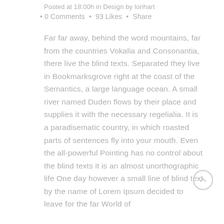Posted at 18:00h in Design by lorihart
• 0 Comments • 93 Likes • Share
Far far away, behind the word mountains, far from the countries Vokalia and Consonantia, there live the blind texts. Separated they live in Bookmarksgrove right at the coast of the Semantics, a large language ocean. A small river named Duden flows by their place and supplies it with the necessary regelialia. It is a paradisematic country, in which roasted parts of sentences fly into your mouth. Even the all-powerful Pointing has no control about the blind texts it is an almost unorthographic life One day however a small line of blind text by the name of Lorem Ipsum decided to leave for the far World of